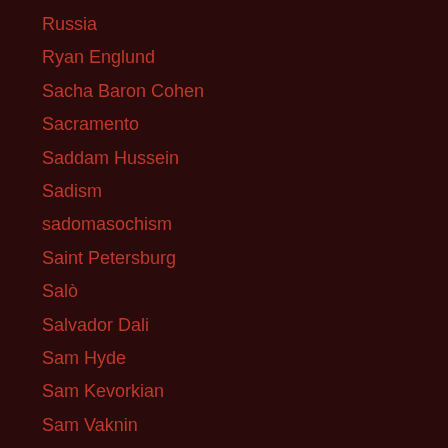Russia
Ryan Englund
Sacha Baron Cohen
Sacramento
Saddam Hussein
Sadism
sadomasochism
Saint Petersburg
Salò
Salvador Dali
Sam Hyde
Sam Kevorkian
Sam Vaknin
Samuel Delany
San Diego